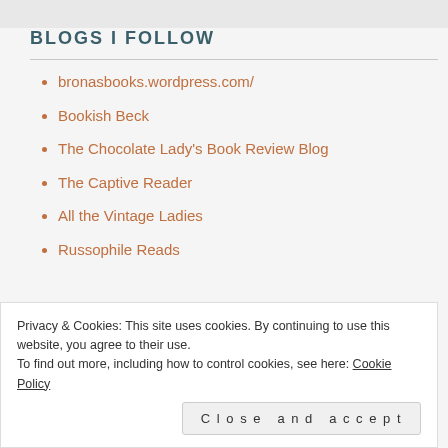BLOGS I FOLLOW
bronasbooks.wordpress.com/
Bookish Beck
The Chocolate Lady's Book Review Blog
The Captive Reader
All the Vintage Ladies
Russophile Reads
Privacy & Cookies: This site uses cookies. By continuing to use this website, you agree to their use.
To find out more, including how to control cookies, see here: Cookie Policy
Close and accept